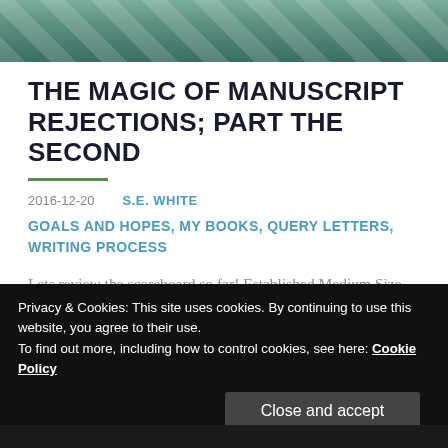[Figure (photo): Partial photo banner at top of page showing green/teal checkered or folded fabric pattern]
THE MAGIC OF MANUSCRIPT REJECTIONS; PART THE SECOND
2016-12-20   S.E. WHITE
GOALS AND HOPES, MY BOOKS, QUERY LETTERS, WRITING PROCESS
Lets review the scoreboard so far! Established Medium Size Agency: #pass, with a very polite form letter. Much appreciated. Established Medium Size Agency: No reply
Privacy & Cookies: This site uses cookies. By continuing to use this website, you agree to their use.
To find out more, including how to control cookies, see here: Cookie Policy
Close and accept